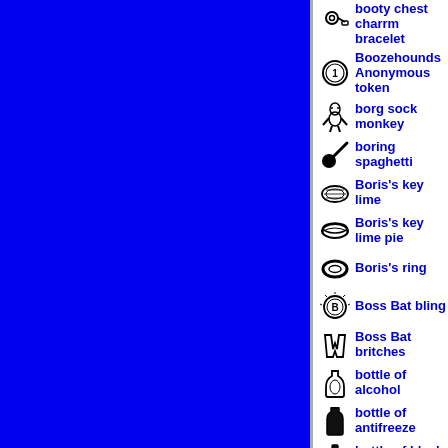[Figure (illustration): Solid blue rectangle occupying the left portion of the page]
booty chest charrm bracelet
Boozehounds Anonymous token
borg sock monkey
boring spaghetti
Boris's key lime
Boris's key lime pie
Boris's ring
Boss Bat bling
Boss Bat britches
bottle of alcohol
bottle of antifreeze
bottle of black cat tonic